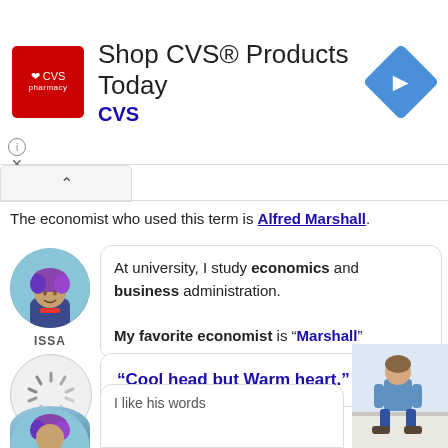[Figure (screenshot): CVS Pharmacy advertisement banner with CVS logo, 'Shop CVS® Products Today' text, CVS brand name in blue, and a blue navigation arrow icon on the right]
The economist who used this term is Alfred Marshall.
[Figure (photo): Circular avatar photo of ISSA - a person with colorful hair]
At university, I study economics and business administration. My favorite economist is "Marshall"
ISSA
[Figure (illustration): Circular avatar with loading spinner for Alfred Marshall]
"Cool head but Warm heart."
Alfred Marshall
[Figure (photo): Photo of person sitting, partially visible in bottom right]
I like his words